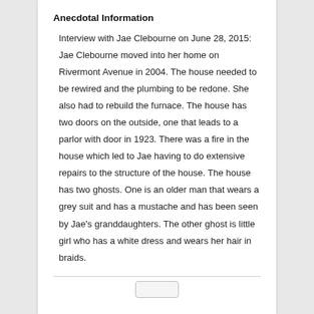Anecdotal Information
Interview with Jae Clebourne on June 28, 2015: Jae Clebourne moved into her home on Rivermont Avenue in 2004. The house needed to be rewired and the plumbing to be redone. She also had to rebuild the furnace. The house has two doors on the outside, one that leads to a parlor with door in 1923. There was a fire in the house which led to Jae having to do extensive repairs to the structure of the house. The house has two ghosts. One is an older man that wears a grey suit and has a mustache and has been seen by Jae's granddaughters. The other ghost is little girl who has a white dress and wears her hair in braids.